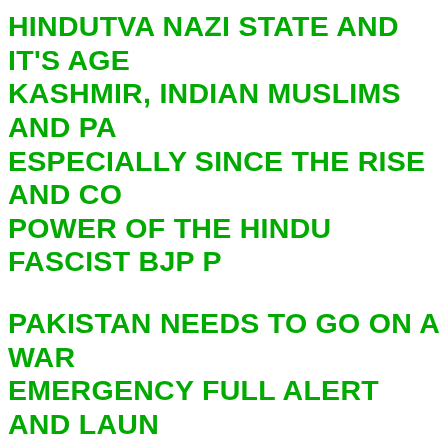HINDUTVA NAZI STATE AND IT'S AGE KASHMIR, INDIAN MUSLIMS AND PA ESPECIALLY SINCE THE RISE AND CO POWER OF THE HINDU FASCIST BJP P
PAKISTAN NEEDS TO GO ON A WAR EMERGENCY FULL ALERT AND LAUN GLOBAL CONCERTED DIPLOMATIC CAMPAIGN EXPOSING THE VIOLATIO HUMAN RIGHTS OF KASHMIRIS BY T INDIAN HINDUTVA FASCIST STATE. T PAKISTANI ELITE HAS TO DATE BEE APPEASING INDIA AND THIS CAN NO CONTINUE AS WE HAVE LONG ENTE EXISTENTIAL STRUGGLE. WE ARE IN SITUATION OF A RETURN TO 1947 WH